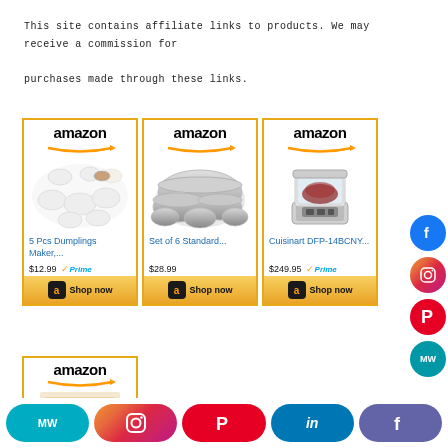This site contains affiliate links to products. We may receive a commission for purchases made through these links.
[Figure (other): Three Amazon product cards showing: 5 Pcs Dumplings Maker ($12.99, Prime), Set of 6 Standard... ($28.99), Cuisinart DFP-14BCNY... ($249.95, Prime), each with Shop now button. Plus a partial 4th Amazon card at the bottom.]
[Figure (other): Side social media icons: Facebook (blue circle), Instagram (gradient circle), Pinterest (red circle), MW teal circle]
[Figure (other): Bottom social media bar with rounded pill buttons: MW (teal), Instagram (gradient), Pinterest (red), LinkedIn (blue), Facebook (purple/blue)]